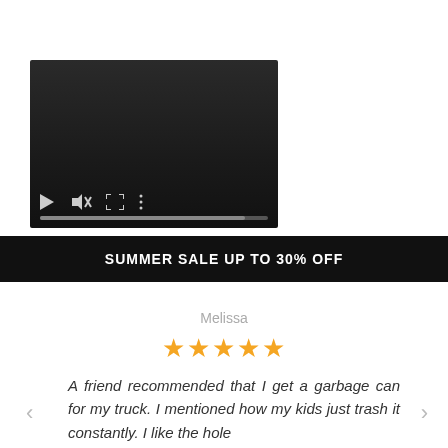[Figure (screenshot): Video player with dark background showing playback controls: play button, mute button, fullscreen button, more options button, and a progress bar at the bottom.]
SUMMER SALE UP TO 30% OFF
Melissa
★★★★★
A friend recommended that I get a garbage can for my truck. I mentioned how my kids just trash it constantly. I like the hole